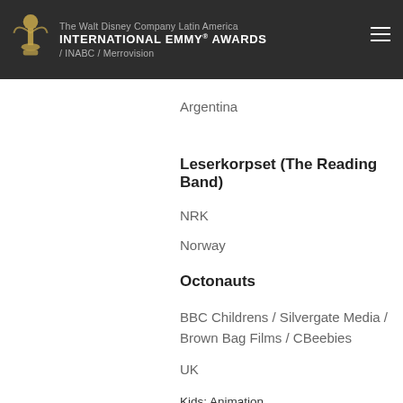The Walt Disney Company Latin America / INABC / Merlrovision — INTERNATIONAL EMMY® AWARDS
Argentina
Leserkorpset (The Reading Band)
NRK
Norway
Octonauts
BBC Childrens / Silvergate Media / Brown Bag Films / CBeebies
UK
Kids: Animation